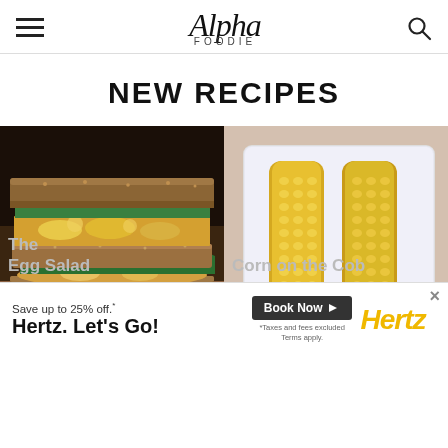Alpha Foodie
NEW RECIPES
[Figure (photo): A stacked egg salad sandwich on whole grain bread with arugula greens, on a wooden board]
[Figure (photo): Corn on the cob pieces in a white container, held by hands]
Save up to 25% off.* Hertz. Let's Go! *Taxes and fees excluded Terms apply. Book Now Hertz
The Egg Salad
Corn on the Cob